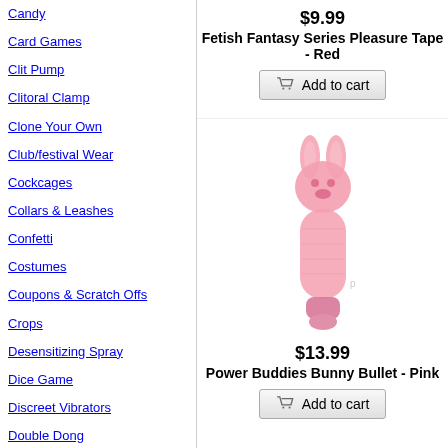Candy
Card Games
Clit Pump
Clitoral Clamp
Clone Your Own
Club/festival Wear
Cockcages
Collars & Leashes
Confetti
Costumes
Coupons & Scratch Offs
Crops
Desensitizing Spray
Dice Game
Discreet Vibrators
Double Dong
Douche
Dress
Drinking & Shot Glasses
Drinking Games
Dual Penetration
Duo Tone Balls
Edible Body Paint
$9.99
Fetish Fantasy Series Pleasure Tape - Red
[Figure (other): Add to cart button for Fetish Fantasy Series Pleasure Tape]
[Figure (photo): Pink bunny bullet vibrator product image]
$13.99
Power Buddies Bunny Bullet - Pink
[Figure (other): Add to cart button for Power Buddies Bunny Bullet - Pink]